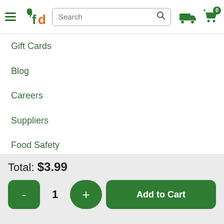fd - Search [search icon] [truck icon] [cart icon 0]
Gift Cards
Blog
Careers
Suppliers
Food Safety
Privacy Policy
Customer Agreement
Terms of Use
Total: $3.99
- 1 + Add to Cart